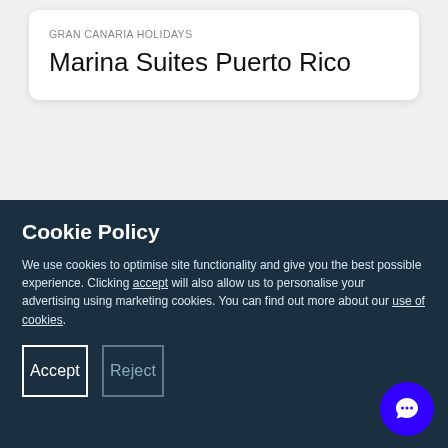GRAN CANARIA HOLIDAYS
Marina Suites Puerto Rico
Cookie Policy
We use cookies to optimise site functionality and give you the best possible experience. Clicking accept will also allow us to personalise your advertising using marketing cookies. You can find out more about our use of cookies.
Accept
Reject